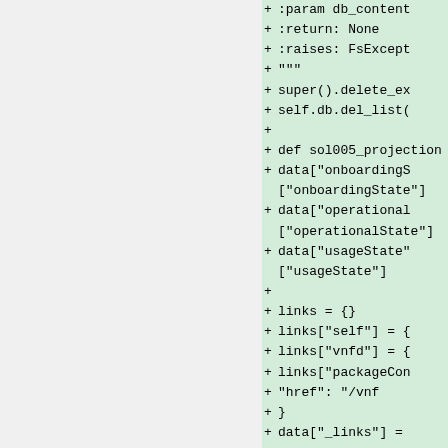[Figure (screenshot): Code diff view showing added lines (green background) of Python code. The right panel shows lines with '+' prefix including :param db_content, :return: None, :raises: FsExcept, triple quotes, super().delete_ex, self.db.del_list(, blank line, def sol005_projection, data["onboardingS ["onboardingState"], data["operational ["operationalState"], data["usageState" ["usageState"], blank line, links = {}, links["self"] = {, links["vnfd"] = {, links["packageCon, "href": "/vnf, }, data["_links"] =, blank line, return super().so, +]